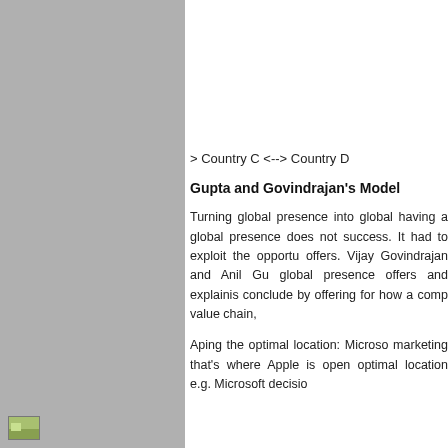[Figure (photo): Small thumbnail image in the lower-left of the gray panel]
> Country C <--> Country D
Gupta and Govindrajan's Model
Turning global presence into global having a global presence does not success. It had to exploit the opportu offers. Vijay Govindrajan and Anil Gu global presence offers and explainis conclude by offering for how a comp value chain,
Aping the optimal location: Microso marketing that's where Apple is open optimal location e.g. Microsoft decisio